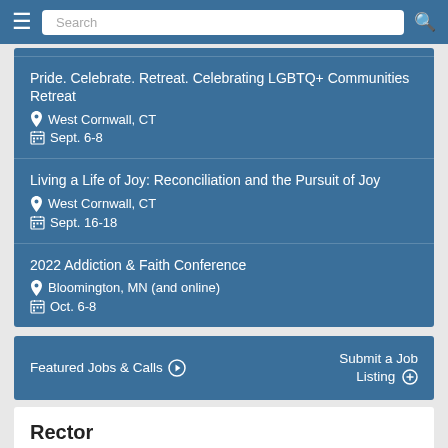Search
Pride. Celebrate. Retreat. Celebrating LGBTQ+ Communities Retreat | West Cornwall, CT | Sept. 6-8
Living a Life of Joy: Reconciliation and the Pursuit of Joy | West Cornwall, CT | Sept. 16-18
2022 Addiction & Faith Conference | Bloomington, MN (and online) | Oct. 6-8
Featured Jobs & Calls ➔
Submit a Job Listing ⊕
Rector
Bellingham, WA